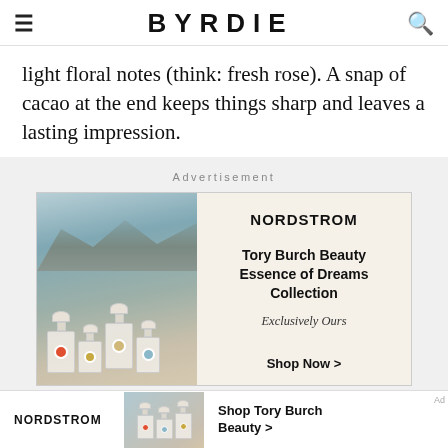BYRDIE
light floral notes (think: fresh rose). A snap of cacao at the end keeps things sharp and leaves a lasting impression.
Advertisement
[Figure (photo): Nordstrom advertisement featuring Tory Burch Beauty Essence of Dreams Collection perfume bottles on a rocky outdoor background, with text: NORDSTROM, Tory Burch Beauty Essence of Dreams Collection, Exclusively Ours, Shop Now >]
[Figure (photo): Bottom sticky Nordstrom banner ad with NORDSTROM text, small perfume bottle image, and Shop Tory Burch Beauty > text]